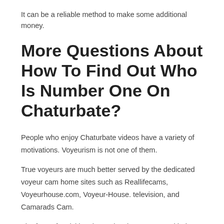It can be a reliable method to make some additional money.
More Questions About How To Find Out Who Is Number One On Chaturbate?
People who enjoy Chaturbate videos have a variety of motivations. Voyeurism is not one of them.
True voyeurs are much better served by the dedicated voyeur cam home sites such as Reallifecams, Voyeurhouse.com, Voyeur-House. television, and Camarads Cam.
The factor for visiting these sites is to engage with the attractive models who typically use live chats, image shoots, and even sex.
The Internet of Things (IoT) is a term used to explain the next